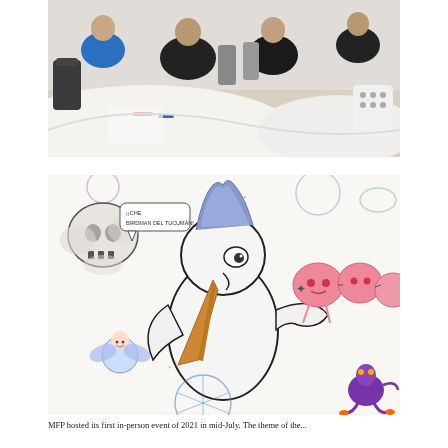[Figure (photo): People sitting around round tables in a workshop or classroom setting, viewed from a low angle. A large white round table is prominent in the foreground.]
[Figure (photo): Close-up of drawings on white paper on a table. Drawings include a cartoon penguin-like bird with a long beak and blue mohawk, a skull, a fairy character, pink blob creatures, and a purple alien figure. Various colorful illustrated characters drawn by participants.]
MFP hosted its first in-person event of 2021 in mid-July. The theme of the...